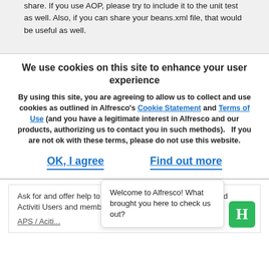share. If you use AOP, please try to include it to the unit test as well. Also, if you can share your beans.xml file, that would be useful as well.
We use cookies on this site to enhance your user experience
By using this site, you are agreeing to allow us to collect and use cookies as outlined in Alfresco's Cookie Statement and Terms of Use (and you have a legitimate interest in Alfresco and our products, authorizing us to contact you in such methods).   If you are not ok with these terms, please do not use this website.
OK, I agree
Find out more
Ask for and offer help to other Alfresco Process Services and Activiti Users and members of the Alfresco...
APS / Aciti...
Welcome to Alfresco! What brought you here to check us out?